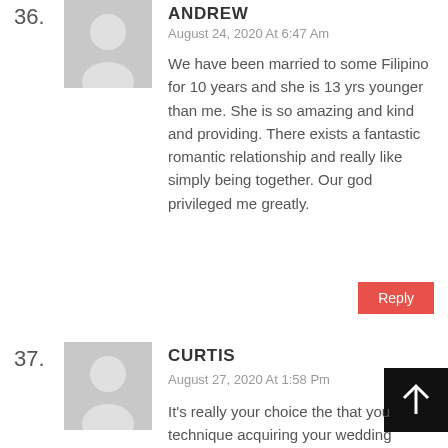36.
[Figure (illustration): Gray placeholder avatar icon showing silhouette of a person]
ANDREW
August 24, 2020 At 6:47 Am
We have been married to some Filipino for 10 years and she is 13 yrs younger than me. She is so amazing and kind and providing. There exists a fantastic romantic relationship and really like simply being together. Our god privileged me greatly.
Reply
37.
[Figure (illustration): Gray placeholder avatar icon showing silhouette of a person]
CURTIS
August 27, 2020 At 1:58 Pm
It's really your choice the that you technique acquiring your wedding clothes from local bridal